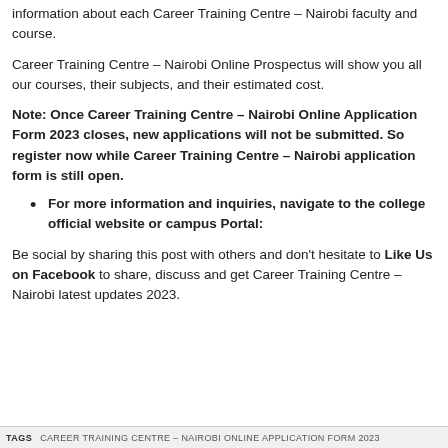information about each Career Training Centre – Nairobi faculty and course.
Career Training Centre – Nairobi Online Prospectus will show you all our courses, their subjects, and their estimated cost.
Note: Once Career Training Centre – Nairobi Online Application Form 2023 closes, new applications will not be submitted. So register now while Career Training Centre – Nairobi application form is still open.
For more information and inquiries, navigate to the college official website or campus Portal:
Be social by sharing this post with others and don't hesitate to Like Us on Facebook to share, discuss and get Career Training Centre – Nairobi latest updates 2023.
TAGS   CAREER TRAINING CENTRE – NAIROBI ONLINE APPLICATION FORM 2023